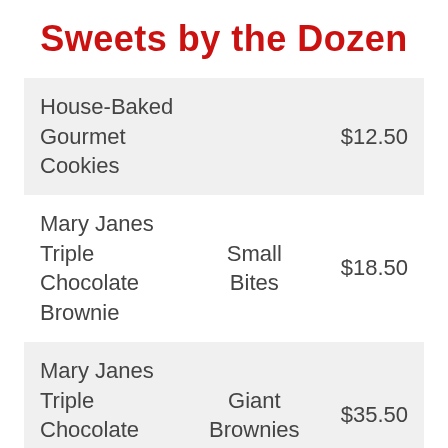Sweets by the Dozen
| Item | Size | Price |
| --- | --- | --- |
| House-Baked Gourmet Cookies |  | $12.50 |
| Mary Janes Triple Chocolate Brownie | Small Bites | $18.50 |
| Mary Janes Triple Chocolate Brownie | Giant Brownies | $35.50 |